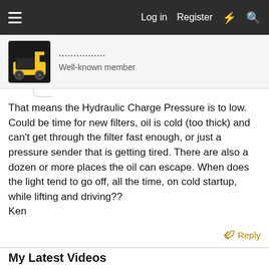Log in  Register
Well-known member
That means the Hydraulic Charge Pressure is to low. Could be time for new filters, oil is cold (too thick) and can't get through the filter fast enough, or just a pressure sender that is getting tired. There are also a dozen or more places the oil can escape. When does the light tend to go off, all the time, on cold startup, while lifting and driving??
Ken
Reply
My Latest Videos
[Figure (screenshot): Video thumbnail area, black rectangle with gray below]